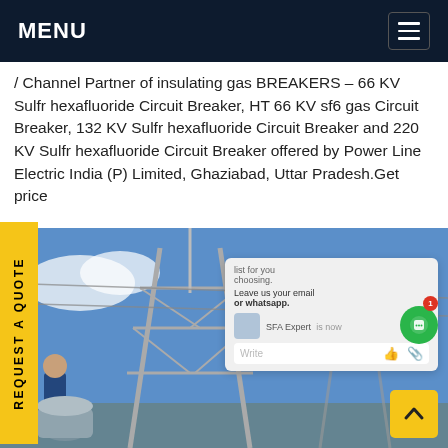MENU
/ Channel Partner of insulating gas BREAKERS - 66 KV Sulfr hexafluoride Circuit Breaker, HT 66 KV sf6 gas Circuit Breaker, 132 KV Sulfr hexafluoride Circuit Breaker and 220 KV Sulfr hexafluoride Circuit Breaker offered by Power Line Electric India (P) Limited, Ghaziabad, Uttar Pradesh. Get price
[Figure (photo): Electrical transmission tower / substation with high voltage equipment and workers, blue sky background]
REQUEST A QUOTE